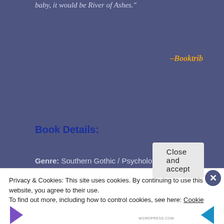baby, it would be River of Ashes."
–Booktrib
Book Details:
Genre: Southern Gothic / Psychological Thriller / Coming-of-Age
Published by: Vesuvian Books
Publication Date: August 2nd, 2022
Privacy & Cookies: This site uses cookies. By continuing to use this website, you agree to their use.
To find out more, including how to control cookies, see here: Cookie Policy
Close and accept